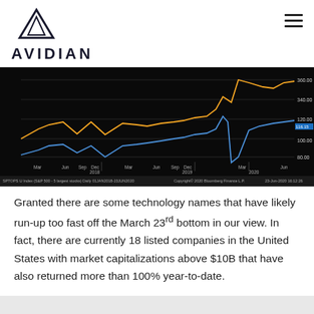[Figure (logo): Avidian logo with triangle/mountain symbol above text 'AVIDIAN' in bold sans-serif letters]
[Figure (line-chart): Bloomberg Finance LP chart showing S&P 500 vs 5 largest stocks (SPTOPS U Index) daily from 01 Jan 2018 to 23 Jun 2020. Orange line (top 5 stocks) rises from ~300 to ~360+, Blue line (S&P 500) rises from ~90 to ~116.15. Both lines show COVID crash in March 2020 then recovery. Y-axis labels: 80.00, 100.00, 120.00, 140.00, 160.00. X-axis: Mar, Jun, Sep, Dec 2018, Mar, Jun, Sep, Dec 2019, Mar, Jun 2020.]
Granted there are some technology names that have likely run-up too fast off the March 23rd bottom in our view. In fact, there are currently 18 listed companies in the United States with market capitalizations above $10B that have also returned more than 100% year-to-date.